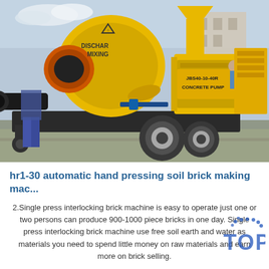[Figure (photo): A large yellow JBS40-10-40R concrete pump machine with a mixing drum labeled 'DISCHAR MIXING' on the left and an engine/generator unit on the right, mounted on a wheeled trailer. A worker in blue pants is visible on the left side. The machine is photographed outdoors on a concrete surface.]
hr1-30 automatic hand pressing soil brick making mac...
2.Single press interlocking brick machine is easy to operate just one or two persons can produce 900-1000 piece bricks in one day. Single press interlocking brick machine use free soil earth and water as materials you need to spend little money on raw materials and earn more on brick selling.